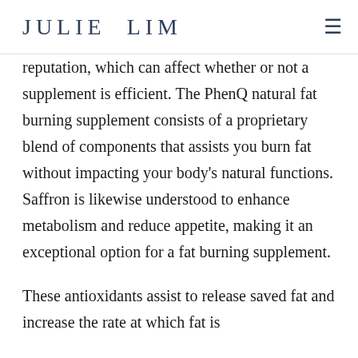JULIE LIM
reputation, which can affect whether or not a supplement is efficient. The PhenQ natural fat burning supplement consists of a proprietary blend of components that assists you burn fat without impacting your body’s natural functions. Saffron is likewise understood to enhance metabolism and reduce appetite, making it an exceptional option for a fat burning supplement.
These antioxidants assist to release saved fat and increase the rate at which fat is